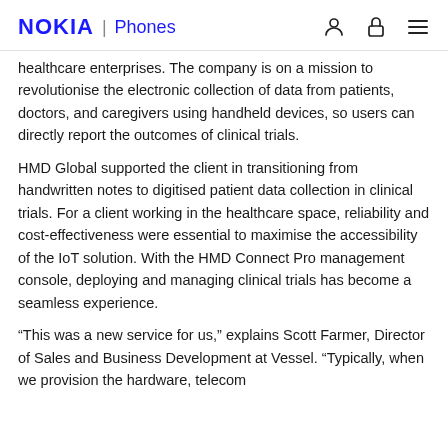NOKIA | Phones
healthcare enterprises. The company is on a mission to revolutionise the electronic collection of data from patients, doctors, and caregivers using handheld devices, so users can directly report the outcomes of clinical trials.
HMD Global supported the client in transitioning from handwritten notes to digitised patient data collection in clinical trials. For a client working in the healthcare space, reliability and cost-effectiveness were essential to maximise the accessibility of the IoT solution. With the HMD Connect Pro management console, deploying and managing clinical trials has become a seamless experience.
“This was a new service for us,” explains Scott Farmer, Director of Sales and Business Development at Vessel. “Typically, when we provision the hardware, telecom